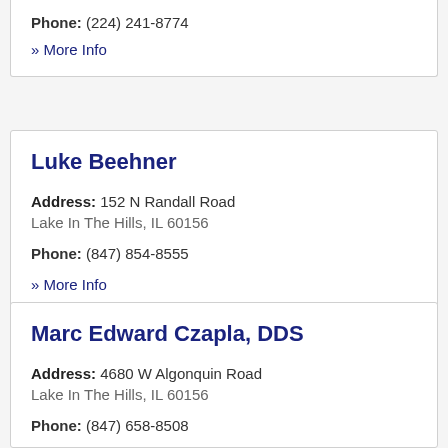Phone: (224) 241-8774
» More Info
Luke Beehner
Address: 152 N Randall Road Lake In The Hills, IL 60156
Phone: (847) 854-8555
» More Info
Marc Edward Czapla, DDS
Address: 4680 W Algonquin Road Lake In The Hills, IL 60156
Phone: (847) 658-8508
» More Info